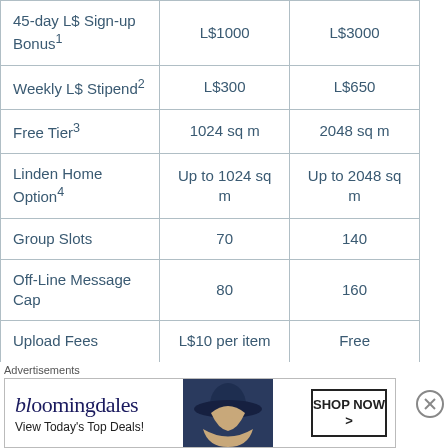| 45-day L$ Sign-up Bonus¹ | L$1000 | L$3000 |
| Weekly L$ Stipend² | L$300 | L$650 |
| Free Tier³ | 1024 sq m | 2048 sq m |
| Linden Home Option⁴ | Up to 1024 sq m | Up to 2048 sq m |
| Group Slots | 70 | 140 |
| Off-Line Message Cap | 80 | 160 |
| Upload Fees | L$10 per item | Free |
Advertisements
[Figure (other): Bloomingdale's advertisement banner with logo, 'View Today's Top Deals!' tagline, woman in hat photo, and 'SHOP NOW >' button]